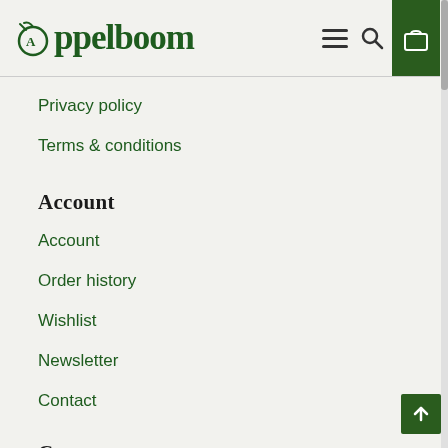Appelboom
Privacy policy
Terms & conditions
Account
Account
Order history
Wishlist
Newsletter
Contact
Contact